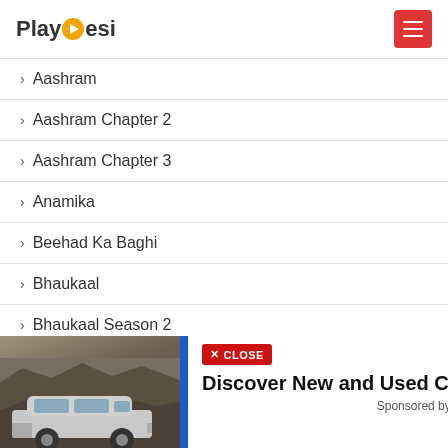PlayDesi
Aashram
Aashram Chapter 2
Aashram Chapter 3
Anamika
Beehad Ka Baghi
Bhaukaal
Bhaukaal Season 2
Bisaat
[Figure (photo): Advertisement showing an SUV car on rocky terrain with close button and text 'Discover New and Used Car De...' sponsored by Car Dea...]